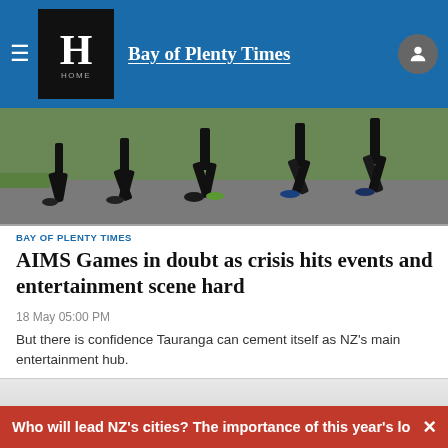Bay of Plenty Times
[Figure (photo): Runners on a path viewed from behind, showing legs and running shoes on a road with grass verge]
BAY OF PLENTY TIMES
AIMS Games in doubt as crisis hits events and entertainment scene hard
18 May 05:00 PM
But there is confidence Tauranga can cement itself as NZ's main entertainment hub.
[Figure (other): Media/video placeholder area with play button]
Who will lead NZ's cities? The importance of this year's lo